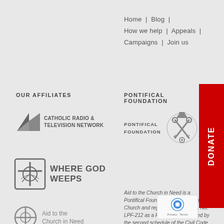Home | Blog | How we help | Appeals | Campaigns | Join us
OUR AFFILIATES
PONTIFICAL FOUNDATION
[Figure (logo): Catholic Radio & Television Network logo with triangle arrow icon]
[Figure (logo): Pontifical Foundation seal/crest logo]
[Figure (logo): Where God Weeps logo with cross/book icon]
[Figure (logo): Aid to the Church in Need logo]
Aid to the Church in Need is a Pontifical Foundation of the Catholic Church and registered Malta Reg. No. LPF-212 as a Foundation regulated by the second schedule of the Civil Code